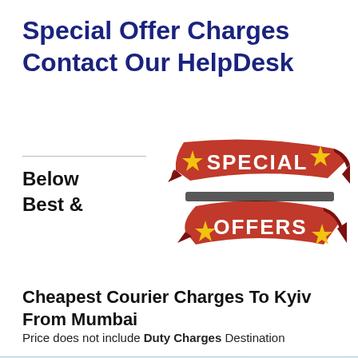Special Offer Charges Contact Our HelpDesk
Below Best &
[Figure (illustration): Red ribbon banner with yellow stars reading 'SPECIAL OFFERS' in white bold text on two curved ribbon shapes]
Cheapest Courier Charges To Kyiv From Mumbai
Price does not include Duty Charges Destination
| Weight | GIE Economy | Other |  |
| --- | --- | --- | --- |